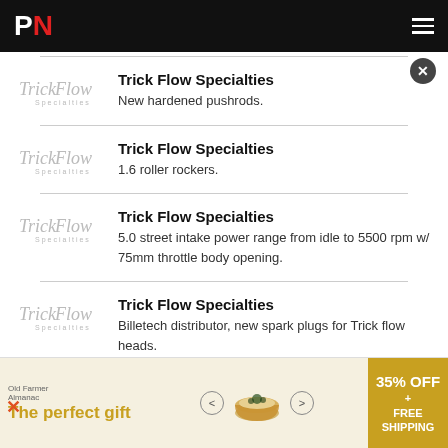PN
Trick Flow Specialties
New hardened pushrods.
Trick Flow Specialties
1.6 roller rockers.
Trick Flow Specialties
5.0 street intake power range from idle to 5500 rpm w/ 75mm throttle body opening.
Trick Flow Specialties
Billetech distributor, new spark plugs for Trick flow heads.
[Figure (other): Advertisement banner: The perfect gift, 35% OFF + FREE SHIPPING]